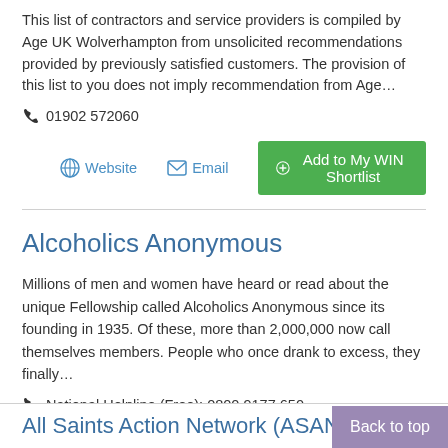This list of contractors and service providers is compiled by Age UK Wolverhampton from unsolicited recommendations provided by previously satisfied customers. The provision of this list to you does not imply recommendation from Age…
☎ 01902 572060
Website  Email  Add to My WIN Shortlist
Alcoholics Anonymous
Millions of men and women have heard or read about the unique Fellowship called Alcoholics Anonymous since its founding in 1935. Of these, more than 2,000,000 now call themselves members. People who once drank to excess, they finally…
☎ National Helpline (Free): 0800 9177 650
Website  Email  Add to My WIN Shortlist
All Saints Action Network (ASAN)
Back to top